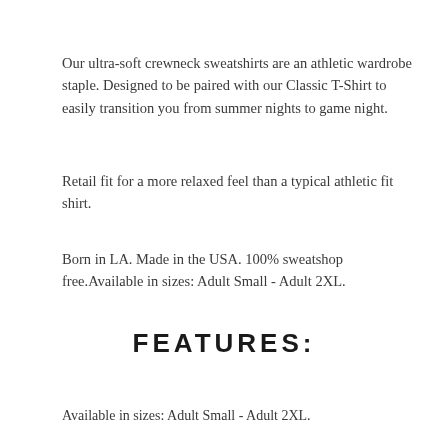Our ultra-soft crewneck sweatshirts are an athletic wardrobe staple. Designed to be paired with our Classic T-Shirt to easily transition you from summer nights to game night.
Retail fit for a more relaxed feel than a typical athletic fit shirt.
Born in LA. Made in the USA. 100% sweatshop free.Available in sizes: Adult Small - Adult 2XL.
FEATURES:
Available in sizes: Adult Small - Adult 2XL.